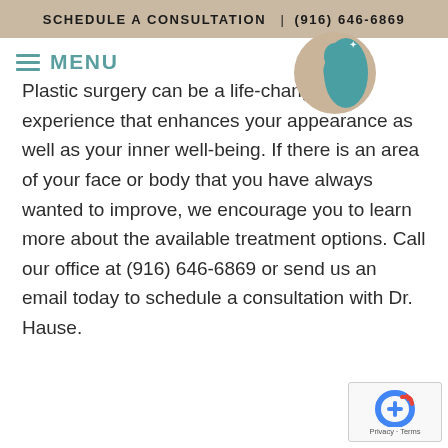SCHEDULE A CONSULTATION  |  (916) 646-6869
MENU
[Figure (logo): Circular logo of a plastic surgery clinic showing a stylized profile of a face and body in teal and beige colors]
Plastic surgery can be a life-changing experience that enhances your appearance as well as your inner well-being. If there is an area of your face or body that you have always wanted to improve, we encourage you to learn more about the available treatment options. Call our office at (916) 646-6869 or send us an email today to schedule a consultation with Dr. Hause.